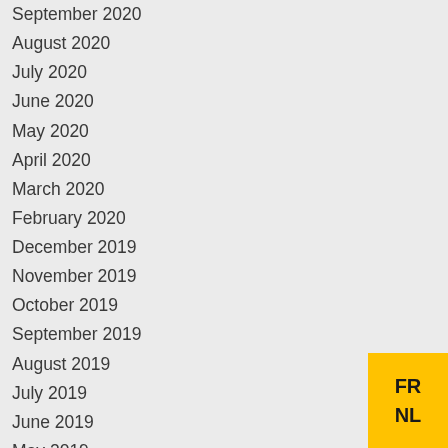September 2020
August 2020
July 2020
June 2020
May 2020
April 2020
March 2020
February 2020
December 2019
November 2019
October 2019
September 2019
August 2019
July 2019
June 2019
May 2019
April 2019
March 2019
[Figure (other): Yellow language selector box with FR and NL options]